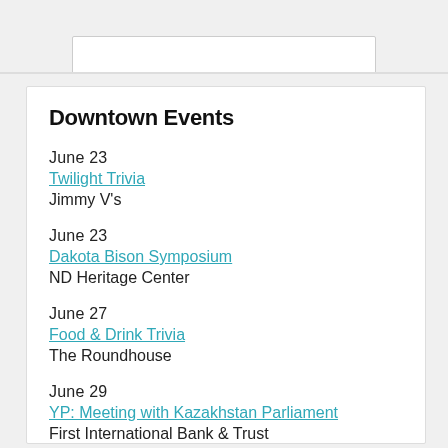Downtown Events
June 23
Twilight Trivia
Jimmy V's
June 23
Dakota Bison Symposium
ND Heritage Center
June 27
Food & Drink Trivia
The Roundhouse
June 29
YP: Meeting with Kazakhstan Parliament
First International Bank & Trust